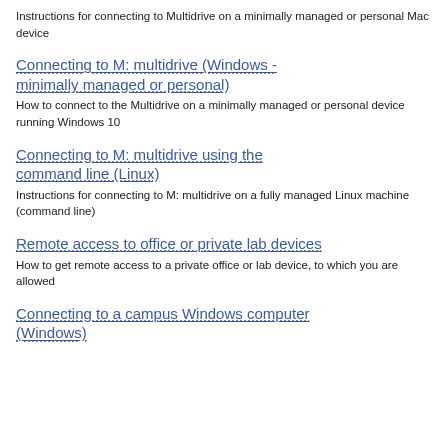Instructions for connecting to Multidrive on a minimally managed or personal Mac device
Connecting to M: multidrive (Windows - minimally managed or personal)
How to connect to the Multidrive on a minimally managed or personal device running Windows 10
Connecting to M: multidrive using the command line (Linux)
Instructions for connecting to M: multidrive on a fully managed Linux machine (command line)
Remote access to office or private lab devices
How to get remote access to a private office or lab device, to which you are allowed
Connecting to a campus Windows computer (Windows)